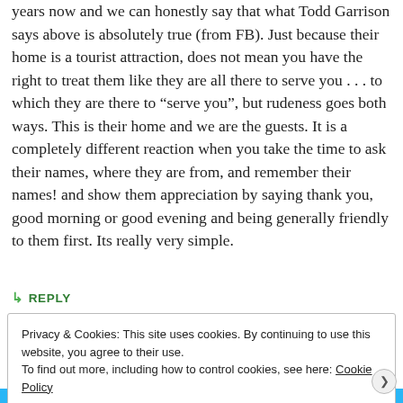years now and we can honestly say that what Todd Garrison says above is absolutely true (from FB). Just because their home is a tourist attraction, does not mean you have the right to treat them like they are all there to serve you . . . to which they are there to “serve you”, but rudeness goes both ways. This is their home and we are the guests. It is a completely different reaction when you take the time to ask their names, where they are from, and remember their names! and show them appreciation by saying thank you, good morning or good evening and being generally friendly to them first. Its really very simple.
REPLY
Privacy & Cookies: This site uses cookies. By continuing to use this website, you agree to their use.
To find out more, including how to control cookies, see here: Cookie Policy
Close and accept